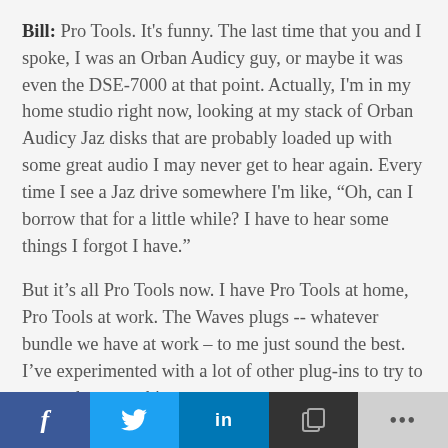Bill: Pro Tools. It's funny. The last time that you and I spoke, I was an Orban Audicy guy, or maybe it was even the DSE-7000 at that point. Actually, I'm in my home studio right now, looking at my stack of Orban Audicy Jaz disks that are probably loaded up with some great audio I may never get to hear again. Every time I see a Jaz drive somewhere I'm like, “Oh, can I borrow that for a little while? I have to hear some things I forgot I have.”
But it’s all Pro Tools now. I have Pro Tools at home, Pro Tools at work. The Waves plugs -- whatever bundle we have at work – to me just sound the best. I’ve experimented with a lot of other plug-ins to try to create the same things,
f  [twitter]  in  [copy]  ...